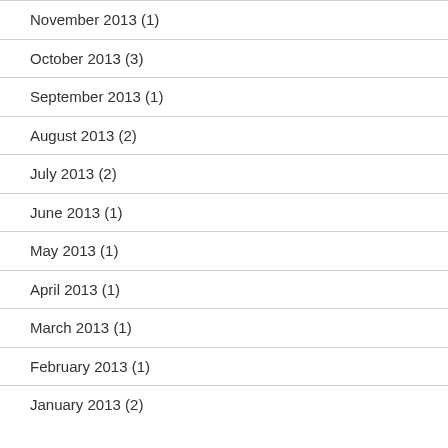November 2013 (1)
October 2013 (3)
September 2013 (1)
August 2013 (2)
July 2013 (2)
June 2013 (1)
May 2013 (1)
April 2013 (1)
March 2013 (1)
February 2013 (1)
January 2013 (2)